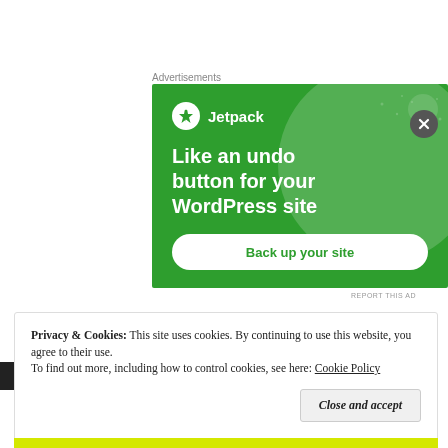Advertisements
[Figure (illustration): Jetpack advertisement banner on green background with decorative circles, logo, headline 'Like an undo button for your WordPress site', and a 'Back up your site' button]
REPORT THIS AD
Privacy & Cookies: This site uses cookies. By continuing to use this website, you agree to their use. To find out more, including how to control cookies, see here: Cookie Policy
Close and accept